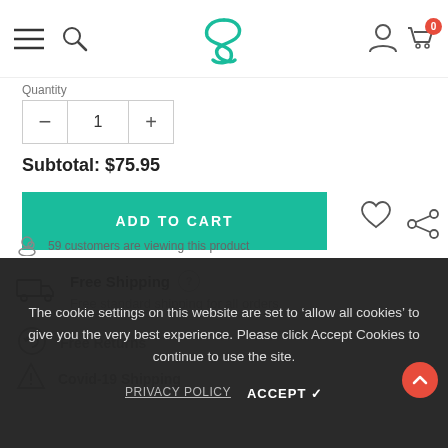[Figure (screenshot): E-commerce website product page screenshot showing navigation bar with hamburger menu, search icon, teal S logo, user icon, and cart with badge showing 0]
Quantity
1
Subtotal: $75.95
ADD TO CART
Free Shipping
Free standard shipping for all orders
Free Returns
Covid-19 Shipping
59 customers are viewing this product
The cookie settings on this website are set to 'allow all cookies' to give you the very best experience. Please click Accept Cookies to continue to use the site.
PRIVACY POLICY
ACCEPT ✓